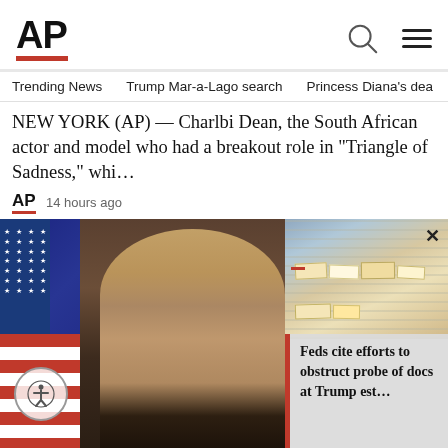AP
Trending News   Trump Mar-a-Lago search   Princess Diana's dea
NEW YORK (AP) — Charlbi Dean, the South African actor and model who had a breakout role in “Triangle of Sadness,”  whi…
AP  14 hours ago
[Figure (photo): Woman with blonde hair posing in front of an American flag and dark wood background]
[Figure (photo): Documents piled on a surface, related to Trump estate probe]
Feds cite efforts to obstruct probe of docs at Trump est…